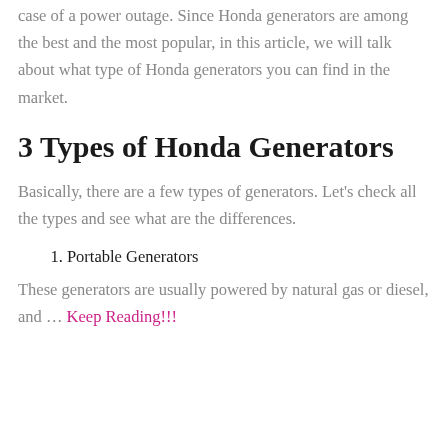case of a power outage. Since Honda generators are among the best and the most popular, in this article, we will talk about what type of Honda generators you can find in the market.
3 Types of Honda Generators
Basically, there are a few types of generators. Let’s check all the types and see what are the differences.
1. Portable Generators
These generators are usually powered by natural gas or diesel, and … Keep Reading!!!